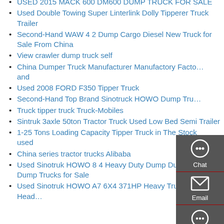USED 2015 MACK 600 DM600 DUMP TRUCK FOR SALE
Used Double Towing Super Linterlink Dolly Tipperer Truck Trailer
Second-Hand WAW 4 2 Dump Cargo Diesel New Truck for Sale From China
View crawler dump truck self
China Dumper Truck Manufacturer Manufactory Facto… and
Used 2008 FORD F350 Tipper Truck
Second-Hand Top Brand Sinotruck HOWO Dump Tru…
Truck tipper truck Truck-Mobiles
Sintruk 3axle 50ton Tractor Truck Used Low Bed Semi Trailer
1-25 Tons Loading Capacity Tipper Truck in The Stock used
China series tractor trucks Alibaba
Used Sinotruk HOWO 8 4 Heavy Duty Dump Dumper Dump Trucks for Sale
Used Sinotruk HOWO A7 6X4 371HP Heavy Truck Tractor Head…